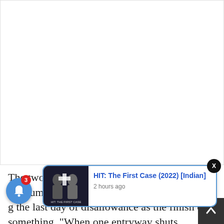[Figure (other): White/blank advertisement or image placeholder area]
[Figure (screenshot): Notification popup for 'HIT: The First Case (2022) [Indian]' with movie thumbnail showing two people, posted 2 hours ago. Blue bordered card with close X button. Bell notification icon with badge showing 3. Up arrow navigation button in bottom right.]
The two by the... e opium e... g the last day of disallowance as the finish of something. "When one entryway shuts, another opens,